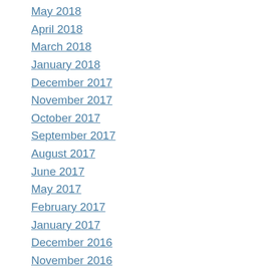May 2018
April 2018
March 2018
January 2018
December 2017
November 2017
October 2017
September 2017
August 2017
June 2017
May 2017
February 2017
January 2017
December 2016
November 2016
October 2016
September 2016
August 2016
July 2016